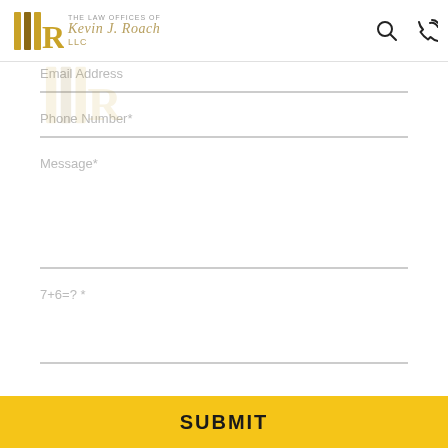The Law Offices of Kevin J. Roach LLC
Email Address
Phone Number*
Message*
7+6=? *
SUBMIT